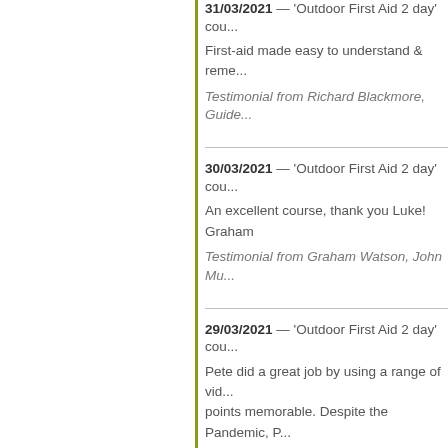31/03/2021 — 'Outdoor First Aid 2 day' cou...
First-aid made easy to understand & reme...
Testimonial from Richard Blackmore, Guide...
30/03/2021 — 'Outdoor First Aid 2 day' cou...
An excellent course, thank you Luke! Graham
Testimonial from Graham Watson, John Mu...
29/03/2021 — 'Outdoor First Aid 2 day' cou...
Pete did a great job by using a range of vid... points memorable. Despite the Pandemic, P... everybody felt safe taking part.
Testimonial from Rebecca Richards
26/03/2021 — 'Outdoor First Aid 2 day' cou...
The pace, delivery and the relevance of the... of the environment I work in the mountains.
Testimonial from Stephen Hall